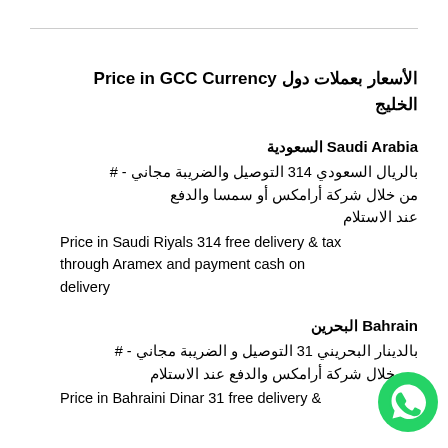الأسعار بعملات دول Price in GCC Currency الخليج
Saudi Arabia السعودية
# - بالريال السعودي 314 التوصيل والضريبة مجاني من خلال شركة أرامكس أو سمسا والدفع عند الاستلام
Price in Saudi Riyals 314 free delivery & tax through Aramex and payment cash on delivery
Bahrain البحرين
# - بالدينار البحريني 31 التوصيل و الضريبة مجاني من خلال شركة أرامكس والدفع عند الاستلام
Price in Bahraini Dinar 31 free delivery &